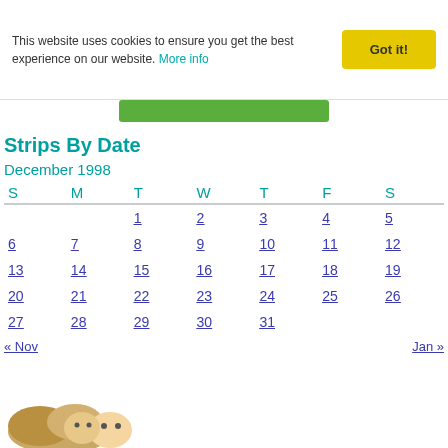This website uses cookies to ensure you get the best experience on our website. More info
Strips By Date
December 1998
| S | M | T | W | T | F | S |
| --- | --- | --- | --- | --- | --- | --- |
|  |  | 1 | 2 | 3 | 4 | 5 |
| 6 | 7 | 8 | 9 | 10 | 11 | 12 |
| 13 | 14 | 15 | 16 | 17 | 18 | 19 |
| 20 | 21 | 22 | 23 | 24 | 25 | 26 |
| 27 | 28 | 29 | 30 | 31 |  |  |
« Nov    Jan »
[Figure (illustration): Cartoon illustration of two characters at the bottom of the page]